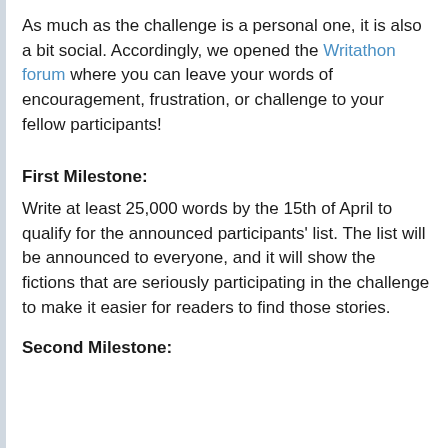As much as the challenge is a personal one, it is also a bit social. Accordingly, we opened the Writathon forum where you can leave your words of encouragement, frustration, or challenge to your fellow participants!
First Milestone:
Write at least 25,000 words by the 15th of April to qualify for the announced participants' list. The list will be announced to everyone, and it will show the fictions that are seriously participating in the challenge to make it easier for readers to find those stories.
Second Milestone: